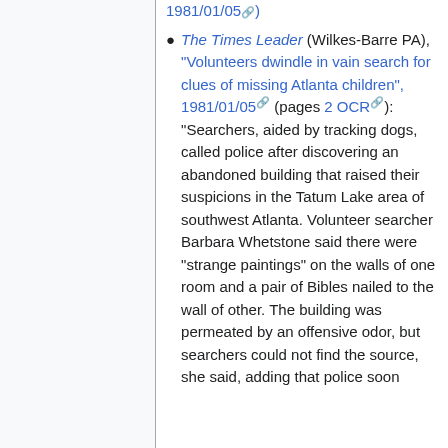1981/01/05 )
The Times Leader (Wilkes-Barre PA), "Volunteers dwindle in vain search for clues of missing Atlanta children", 1981/01/05 (pages 2 OCR ): "Searchers, aided by tracking dogs, called police after discovering an abandoned building that raised their suspicions in the Tatum Lake area of southwest Atlanta. Volunteer searcher Barbara Whetstone said there were "strange paintings" on the walls of one room and a pair of Bibles nailed to the wall of other. The building was permeated by an offensive odor, but searchers could not find the source, she said, adding that police soon